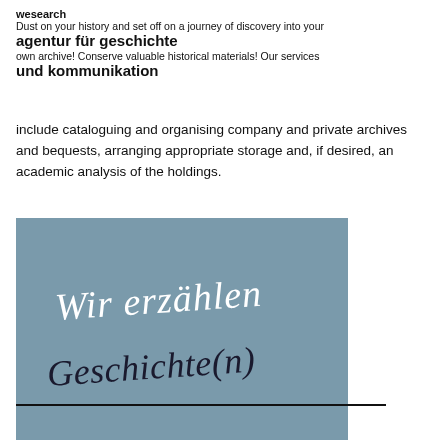wesearch
agentur für geschichte
und kommunikation
Dust on your history and set off on a journey of discovery into your own archive! Conserve valuable historical materials! Our services include cataloguing and organising company and private archives and bequests, arranging appropriate storage and, if desired, an academic analysis of the holdings.
[Figure (illustration): Blue-grey rectangular image with handwritten cursive German text reading 'Wir erzählen Geschichte(n)' in two lines, first line in white ink, second in dark ink.]